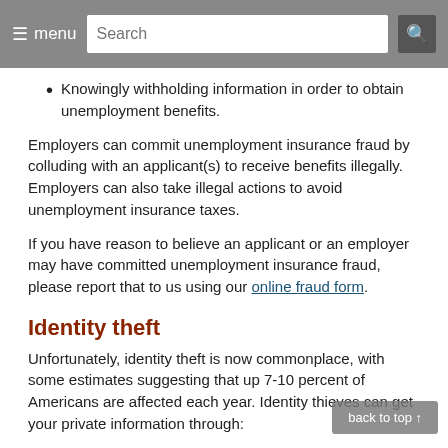menu | Search
Knowingly withholding information in order to obtain unemployment benefits.
Employers can commit unemployment insurance fraud by colluding with an applicant(s) to receive benefits illegally. Employers can also take illegal actions to avoid unemployment insurance taxes.
If you have reason to believe an applicant or an employer may have committed unemployment insurance fraud, please report that to us using our online fraud form.
Identity theft
Unfortunately, identity theft is now commonplace, with some estimates suggesting that up 7-10 percent of Americans are affected each year. Identity thieves can get your private information through:
Data breaches (whether accidental or intentional)
Phishing schemes (a data thief convinces you to disclose private data either via email or a website)
Viewing private information you sent over an insecure